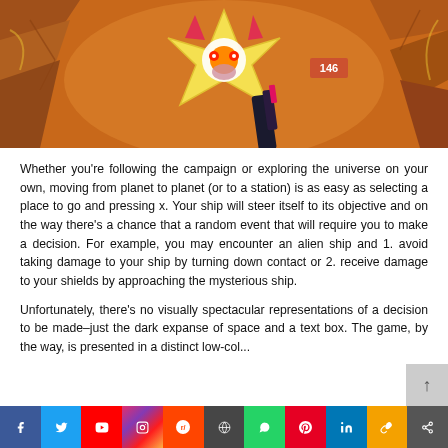[Figure (screenshot): Video game screenshot showing a stylized alien creature with star-shaped body and red eyes, a gun/arm visible in foreground, warm orange/brown environment, HUD element showing '146' in pink box]
Whether you're following the campaign or exploring the universe on your own, moving from planet to planet (or to a station) is as easy as selecting a place to go and pressing x. Your ship will steer itself to its objective and on the way there's a chance that a random event that will require you to make a decision. For example, you may encounter an alien ship and 1. avoid taking damage to your ship by turning down contact or 2. receive damage to your shields by approaching the mysterious ship.
Unfortunately, there's no visually spectacular representations of a decision to be made–just the dark expanse of space and a text box. The game, by the way, is presented in a distinct low-col...